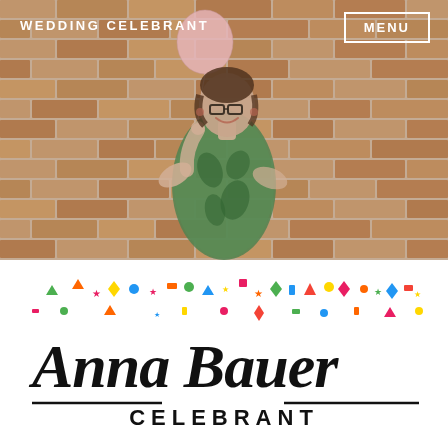[Figure (photo): Woman in green floral off-shoulder dress holding a pink balloon, standing in front of a brick wall, smiling and laughing]
WEDDING CELEBRANT
MENU
[Figure (logo): Anna Bauer Celebrant logo with script font for Anna Bauer, sans-serif CELEBRANT underneath, colorful confetti shapes above the text]